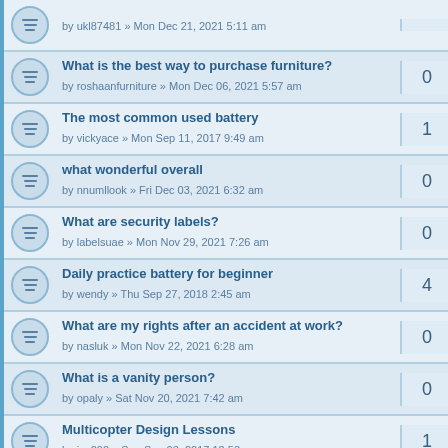What is the best way to purchase furniture? by roshaanfurniture » Mon Dec 06, 2021 5:57 am — 0
The most common used battery by vickyace » Mon Sep 11, 2017 9:49 am — 1
what wonderful overall by nnumllook » Fri Dec 03, 2021 6:32 am — 0
What are security labels? by labelsuae » Mon Nov 29, 2021 7:26 am — 0
Daily practice battery for beginner by wendy » Thu Sep 27, 2018 2:45 am — 4
What are my rights after an accident at work? by nasluk » Mon Nov 22, 2021 6:28 am — 0
What is a vanity person? by opaly » Sat Nov 20, 2021 7:42 am — 0
Multicopter Design Lessons by jax200 » Sun Sep 03, 2017 12:53 am — 1
ukl87481 by ukl87481 » Wed Nov 03, 2021 5:18 am — 0
Antenna Question? by Akcobra » Fri Sep 03, 2021 4:50 pm — 0
businessmenulist by businessmenulist1 » Tue Aug 24, 2021 5:00 am — 0